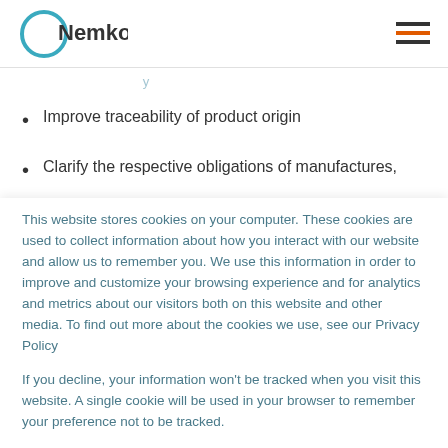Nemko
Improve traceability of product origin
Clarify the respective obligations of manufactures,
This website stores cookies on your computer. These cookies are used to collect information about how you interact with our website and allow us to remember you. We use this information in order to improve and customize your browsing experience and for analytics and metrics about our visitors both on this website and other media. To find out more about the cookies we use, see our Privacy Policy
If you decline, your information won't be tracked when you visit this website. A single cookie will be used in your browser to remember your preference not to be tracked.
Cookies settings    Accept All    Decline All